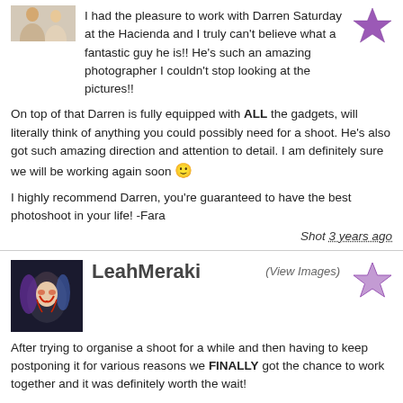[Figure (photo): Avatar photo of reviewer (partially visible, two women)]
[Figure (other): Purple star rating icon]
I had the pleasure to work with Darren Saturday at the Hacienda and I truly can't believe what a fantastic guy he is!! He's such an amazing photographer I couldn't stop looking at the pictures!!
On top of that Darren is fully equipped with ALL the gadgets, will literally think of anything you could possibly need for a shoot. He's also got such amazing direction and attention to detail. I am definitely sure we will be working again soon 🙂
I highly recommend Darren, you're guaranteed to have the best photoshoot in your life! -Fara
Shot 3 years ago
[Figure (photo): Avatar photo of LeahMeraki dressed in clown/joker makeup]
LeahMeraki
(View Images)
[Figure (other): Purple star rating icon (outline/lighter)]
After trying to organise a shoot for a while and then having to keep postponing it for various reasons we FINALLY got the chance to work together and it was definitely worth the wait!
Darren is such a great guy, with a great personality and we just hit it off straight away and he even understood my sarcasm (which doesn't always come across as intended on first shoots so thanks for putting up with that!)
We worked on various different sets and genres and he even experimented with lighting in the studio which has turned out to be one of my favourite photos!